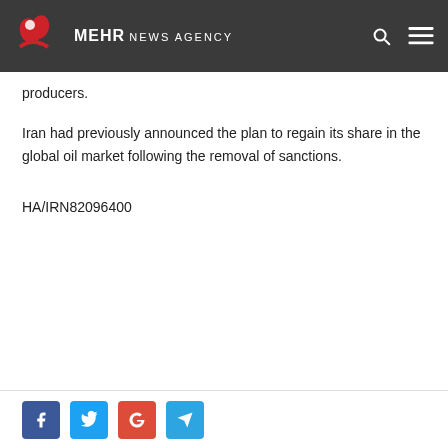MEHR NEWS AGENCY
producers.
Iran had previously announced the plan to regain its share in the global oil market following the removal of sanctions.
HA/IRN82096400
News Code 117022